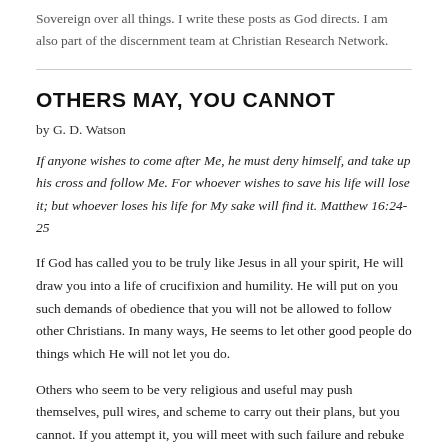Sovereign over all things. I write these posts as God directs. I am also part of the discernment team at Christian Research Network.
OTHERS MAY, YOU CANNOT
by G. D. Watson
If anyone wishes to come after Me, he must deny himself, and take up his cross and follow Me. For whoever wishes to save his life will lose it; but whoever loses his life for My sake will find it. Matthew 16:24-25
If God has called you to be truly like Jesus in all your spirit, He will draw you into a life of crucifixion and humility. He will put on you such demands of obedience that you will not be allowed to follow other Christians. In many ways, He seems to let other good people do things which He will not let you do.
Others who seem to be very religious and useful may push themselves, pull wires, and scheme to carry out their plans, but you cannot. If you attempt it, you will meet with such failure and rebuke from the Lord as to